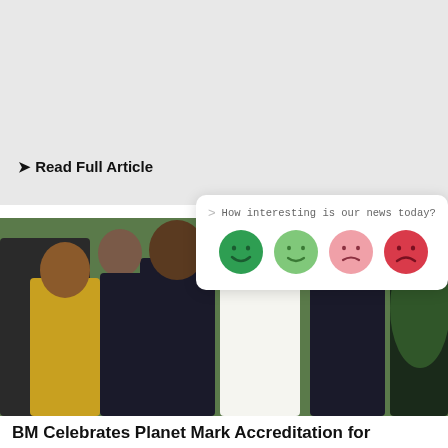What Does Net-Zero by 2050 Mean for Businesses?
TEAM Energy's Head of Consultancy, Timothy Holman examines what the government's net-zero ambition really means to UK businesses and how they can be part of...
❯ Read Full Article
[Figure (infographic): Rating widget with question 'How interesting is our news today?' and four emoji faces ranging from dark green happy to red sad]
[Figure (photo): Group photo of employees including a woman in a yellow apron and several people in dark business attire, taken in front of green foliage wall]
BM Celebrates Planet Mark Accreditation for